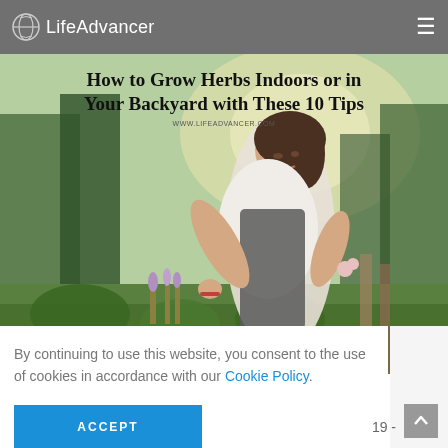LifeAdvancer
[Figure (photo): Woman smiling and pruning herbs in an outdoor garden, with green plants and trees in the background. Title overlay reads: How to Grow Herbs Indoors or in Your Backyard with These 10 Tips. URL: www.lifeadvancer.com]
By continuing to use this website, you consent to the use of cookies in accordance with our Cookie Policy.
ACCEPT
19 -